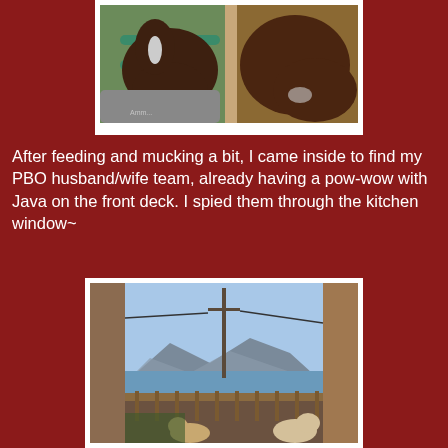[Figure (photo): Two horses facing the camera, one in a stall with green metal fence/rails visible, another horse's head on the right side. Photo has a watermark at the bottom left.]
After feeding and mucking a bit, I came inside to find my PBO husband/wife team, already having a pow-wow with Java on the front deck. I spied them through the kitchen window~
[Figure (photo): View from inside a kitchen window looking out onto a front deck. A utility pole with power lines is visible. In the background there are mountains and a lake or large body of water. On the deck railing area, two dogs (one light-colored) are visible.]